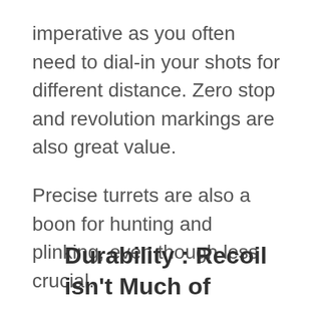imperative as you often need to dial-in your shots for different distance. Zero stop and revolution markings are also great value.
Precise turrets are also a boon for hunting and plinking, even though less crucial.
Hunting style turrets often are low profile and come with caps to prevent unintentional adjustment especially when out hunting. Target (shooting) style turrets are high profile without caps. This makes adjusting on the fly easier.
Durability : Recoil isn't Much of